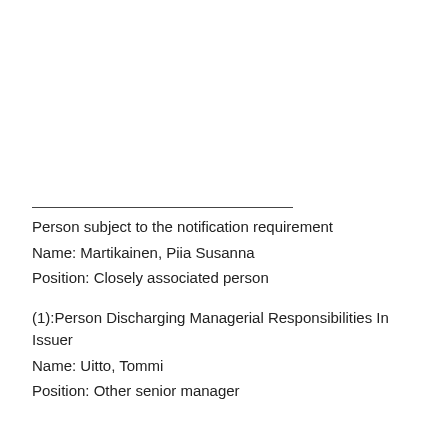Person subject to the notification requirement
Name: Martikainen, Piia Susanna
Position: Closely associated person
(1):Person Discharging Managerial Responsibilities In Issuer
Name: Uitto, Tommi
Position: Other senior manager